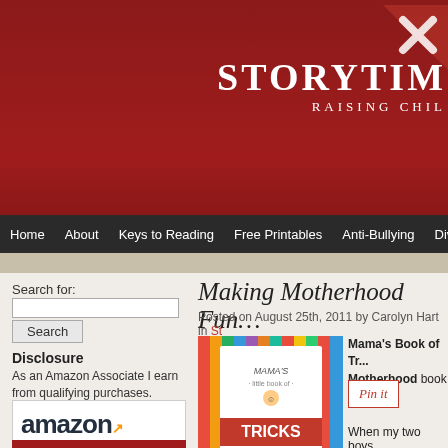[Figure (screenshot): Storytime website header with dark red background, logo text 'STORYTIME' and 'RAISING CHIL...' in white serif font, and a decorative icon in top right]
Home   About   Keys to Reading   Free Printables   Anti-Bullying   Diver...
Search for:
Making Motherhood Fun…
Posted on August 25th, 2011 by Carolyn Hart in St...
Disclosure
As an Amazon Associate I earn from qualifying purchases.
[Figure (logo): Amazon logo with 'amazon' text, orange arrow, and 'SHOP. CONNECT. ENJOY.' tagline in orange, with Privacy link]
Translate »
[Figure (photo): Book cover: Mama's Little Book of Tricks by Lynn Brunelle - colorful vertical stripes with book title text]
Mama's Book of Tr... Motherhood book p...
Pin it
When my two boys...